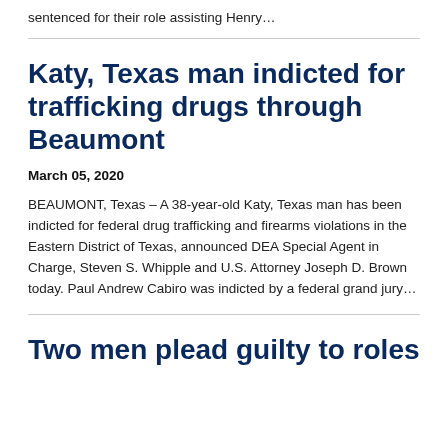sentenced for their role assisting Henry…
Katy, Texas man indicted for trafficking drugs through Beaumont
March 05, 2020
BEAUMONT, Texas – A 38-year-old Katy, Texas man has been indicted for federal drug trafficking and firearms violations in the Eastern District of Texas, announced DEA Special Agent in Charge, Steven S. Whipple and U.S. Attorney Joseph D. Brown today. Paul Andrew Cabiro was indicted by a federal grand jury…
Two men plead guilty to roles